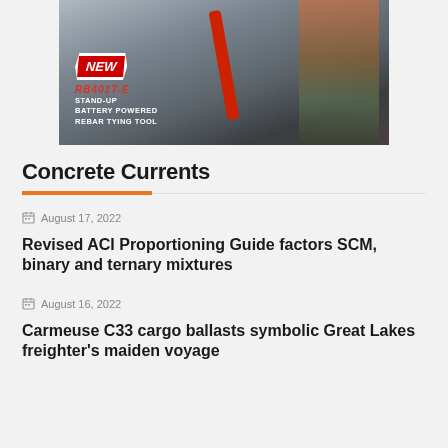[Figure (photo): Construction worker using a red stand-up battery powered rebar tying tool (RB401T-E) on a rebar grid. Text overlay shows 'NEW' badge, 'RB401T-E STAND-UP BATTERY POWERED REBAR TYING TOOL'.]
Concrete Currents
August 17, 2022
Revised ACI Proportioning Guide factors SCM, binary and ternary mixtures
August 16, 2022
Carmeuse C33 cargo ballasts symbolic Great Lakes freighter's maiden voyage